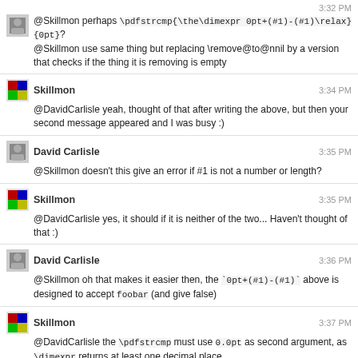@Skillmon perhaps \pdfstrcmp{\the\dimexpr 0pt+(#1)-(#1)\relax}{0pt}?
@Skillmon use same thing but replacing \remove@to@nnil by a version that checks if the thing it is removing is empty
Skillmon 3:34 PM
@DavidCarlisle yeah, thought of that after writing the above, but then your second message appeared and I was busy :)
David Carlisle 3:35 PM
@Skillmon doesn't this give an error if #1 is not a number or length?
Skillmon 3:35 PM
@DavidCarlisle yes, it should if it is neither of the two... Haven't thought of that :)
David Carlisle 3:36 PM
@Skillmon oh that makes it easier then, the `0pt+(#1)-(#1)` above is designed to accept foobar (and give false)
Skillmon 3:37 PM
@DavidCarlisle the \pdfstrcmp must use 0.0pt as second argument, as \dimexpr returns at least one decimal place.
David Carlisle 3:37 PM
@Skillmon what are you going to do if it's a number not a length? perhaps \@defaultunits does what you need anyway.
@Skillmon details:-)